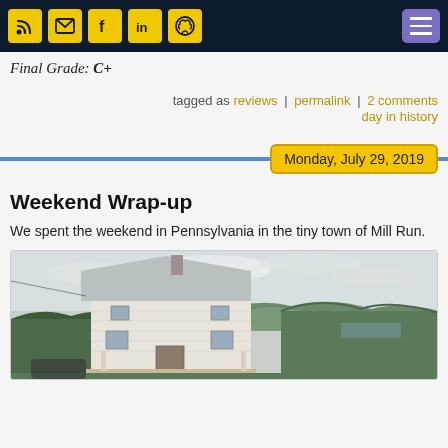Navigation bar with social icons and hamburger menu
Final Grade: C+
tagged as reviews | permalink | 2 comments day in history
Monday, July 29, 2019
Weekend Wrap-up
We spent the weekend in Pennsylvania in the tiny town of Mill Run.
[Figure (photo): A white two-story house with a metal roof in the foreground, with rolling green hills and an overcast sky in the background. Located in Mill Run, Pennsylvania.]